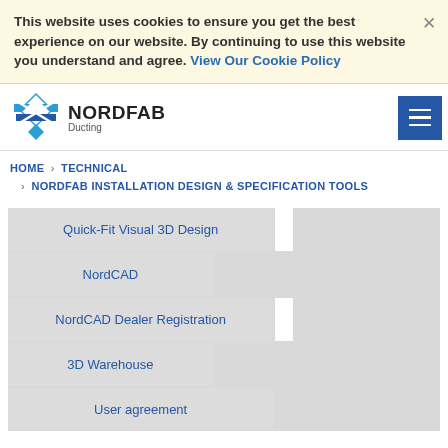This website uses cookies to ensure you get the best experience on our website. By continuing to use this website you understand and agree. View Our Cookie Policy
[Figure (logo): Nordfab Ducting logo with blue diamond/cross graphic and text NORDFAB Ducting]
HOME › TECHNICAL › NORDFAB INSTALLATION DESIGN & SPECIFICATION TOOLS
Quick-Fit Visual 3D Design
NordCAD
NordCAD Dealer Registration
3D Warehouse
User agreement
NORDFAB